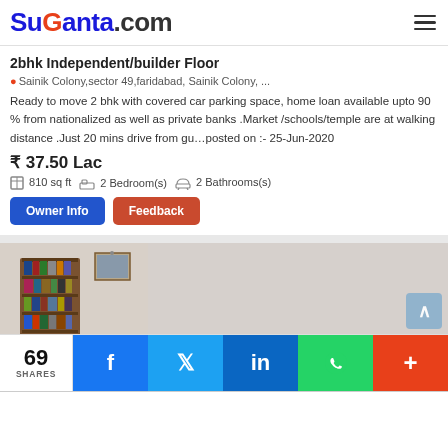SuGanta.com
2bhk Independent/builder Floor
Sainik Colony,sector 49,faridabad, Sainik Colony, ...
Ready to move 2 bhk with covered car parking space, home loan available upto 90 % from nationalized as well as private banks .Market /schools/temple are at walking distance .Just 20 mins drive from gu...posted on :- 25-Jun-2020
₹ 37.50 Lac
810 sq ft  2 Bedroom(s)  2 Bathrooms(s)
[Figure (photo): Interior room photo showing a bookshelf/cabinet against a wall with a framed picture on the wall]
69 SHARES